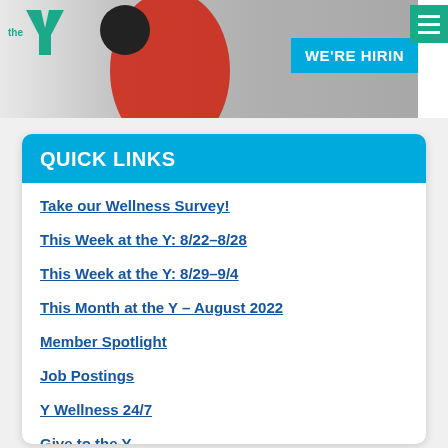[Figure (photo): YMCA banner image showing a lifeguard in red uniform near a pool, with the YMCA logo on the left, a 'WE'RE HIRING' blue banner overlay, and a teal hamburger menu button in the top-right corner.]
QUICK LINKS
Take our Wellness Survey!
This Week at the Y: 8/22–8/28
This Week at the Y: 8/29–9/4
This Month at the Y – August 2022
Member Spotlight
Job Postings
Y Wellness 24/7
Give to the Y